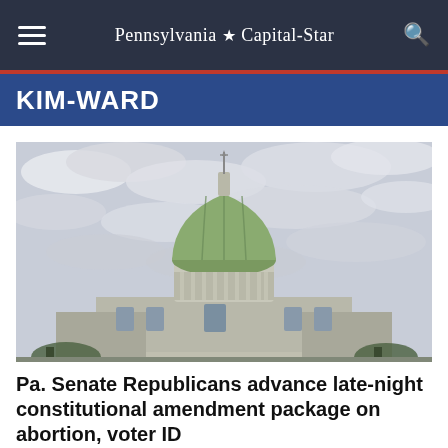Pennsylvania Capital-Star
KIM-WARD
[Figure (photo): Upward view of the Pennsylvania State Capitol building dome against a cloudy sky. The green dome with ornate stonework is centered in the frame.]
Pa. Senate Republicans advance late-night constitutional amendment package on abortion, voter ID